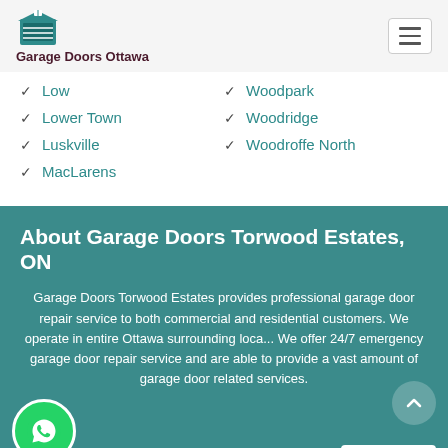Garage Doors Ottawa
Low
Lower Town
Luskville
MacLarens
Woodpark
Woodridge
Woodroffe North
About  Garage Doors Torwood Estates, ON
Garage Doors Torwood Estates provides professional garage door repair service to both commercial and residential customers. We operate in entire Ottawa surrounding loca... We offer 24/7 emergency garage door repair service and are able to provide a vast amount of garage door related services.
Quick Links